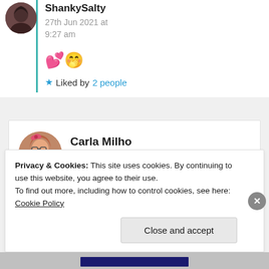ShankySalty
27th Jun 2021 at 9:27 am
💕🤭
★ Liked by 2 people
Carla Milho
26th Jun 2021 at 3:18 pm
Privacy & Cookies: This site uses cookies. By continuing to use this website, you agree to their use. To find out more, including how to control cookies, see here: Cookie Policy
Close and accept